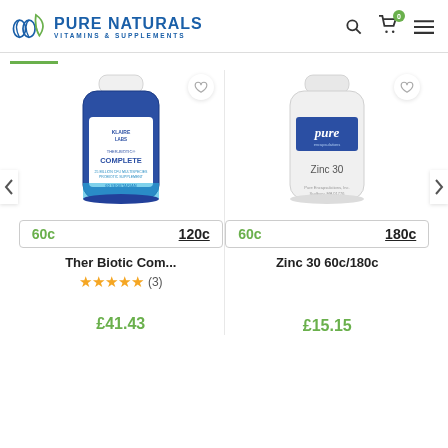Pure Naturals Vitamins & Supplements — website header with logo, search, cart (0), and menu icons
[Figure (photo): Klaire Labs Ther-Biotic Complete probiotic supplement bottle (blue, 60 vegetarian capsules)]
60c   120c
Ther Biotic Com...
★★★★★ (3)
£41.43
[Figure (photo): Pure Encapsulations Zinc 30 supplement bottle (white)]
60c   180c
Zinc 30 60c/180c
£15.15